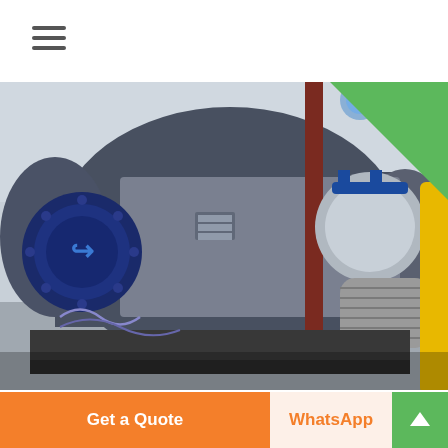[Figure (photo): Industrial coal-fired steam boiler in a factory setting. A large dark blue cylindrical boiler body with a circular burner assembly on the left side, silver/grey insulated piping, blue-handled valves, yellow painted pipes, and structural steel framework visible in the background.]
DZL2 1 25 All Coal Fired 2 ton steam boiler to Tanzania
Get a Quote
WhatsApp